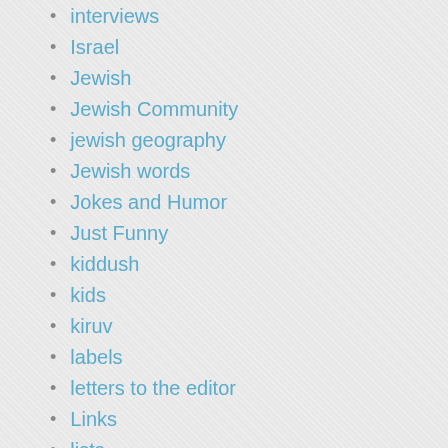interviews
Israel
Jewish
Jewish Community
jewish geography
Jewish words
Jokes and Humor
Just Funny
kiddush
kids
kiruv
labels
letters to the editor
Links
lists
live shows
Lubavitchers
marriage
Modern orthodox
Monsey